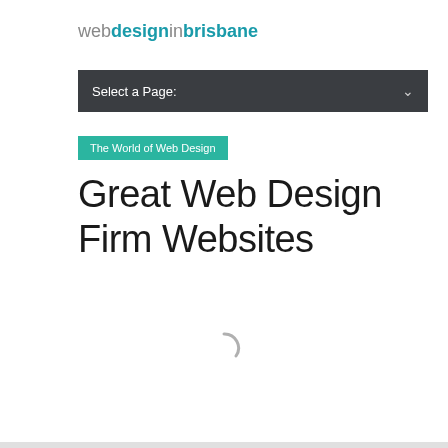webdesigninbrisbane
Select a Page:
The World of Web Design
Great Web Design Firm Websites
[Figure (other): Loading spinner graphic — a partial arc indicating content is loading]